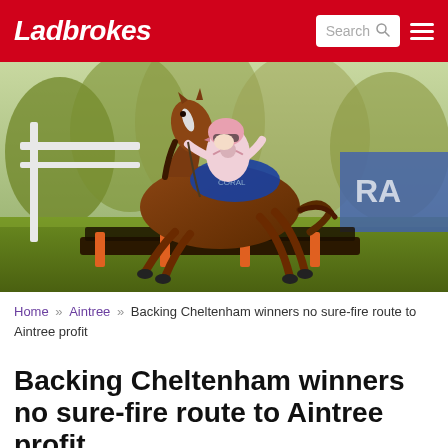Ladbrokes
[Figure (photo): A jockey in pink and white silks riding a chestnut horse clearing a hurdle fence at a racecourse, with white rails and green trees in the background.]
Home » Aintree » Backing Cheltenham winners no sure-fire route to Aintree profit
Backing Cheltenham winners no sure-fire route to Aintree profit